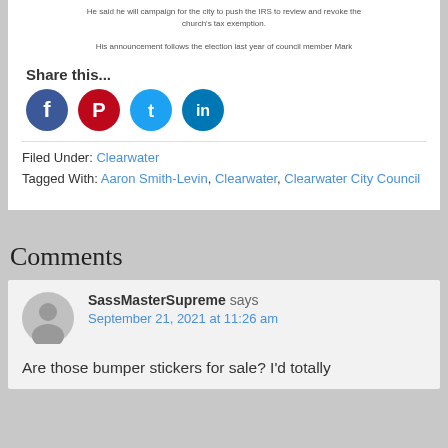He said he will campaign for the city to push the IRS to review and revoke the church's tax exemption.

His announcement follows the election last year of council member Mark
Share this...
[Figure (infographic): Social media share icons: Facebook (blue circle), Pinterest (red circle), Twitter (light blue circle), LinkedIn (dark blue circle)]
Filed Under: Clearwater
Tagged With: Aaron Smith-Levin, Clearwater, Clearwater City Council
Comments
SassMasterSupreme says
September 21, 2021 at 11:26 am
Are those bumper stickers for sale? I'd totally